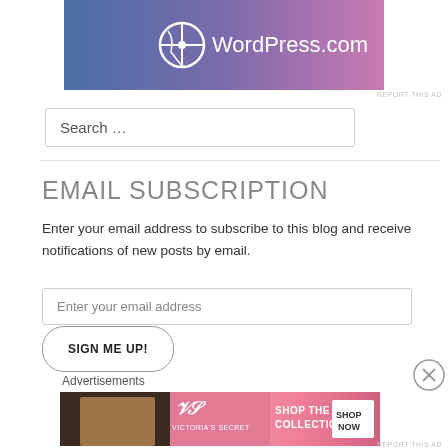[Figure (logo): WordPress.com advertisement banner with gradient blue-to-pink background and WordPress logo with text 'WordPress.com']
REPORT THIS AD
Search …
EMAIL SUBSCRIPTION
Enter your email address to subscribe to this blog and receive notifications of new posts by email.
Enter your email address
SIGN ME UP!
Advertisements
[Figure (photo): Victoria's Secret advertisement banner with model, logo, and text 'SHOP THE COLLECTION' and 'SHOP NOW' button]
REPORT THIS AD